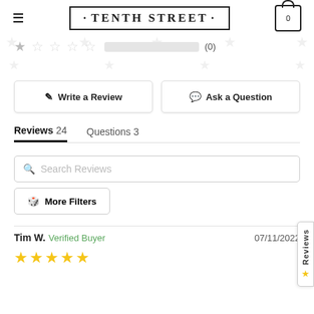TENTH STREET
[Figure (other): Star rating row showing 1 filled star and 4 empty stars with a gray progress bar and (0) count]
Write a Review
Ask a Question
Reviews 24   Questions 3
Search Reviews
More Filters
Tim W.  Verified Buyer   07/11/2022
[Figure (other): 5 gold star rating by Tim W.]